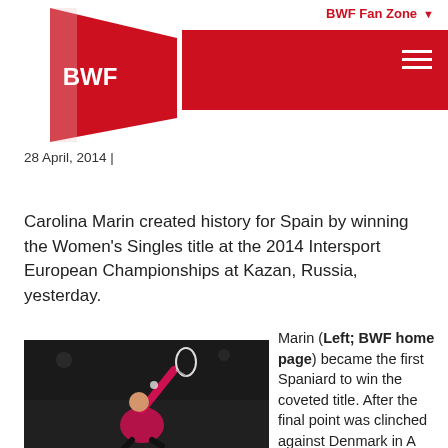BWF Fan Zone
[Figure (logo): BWF logo - red pennant flag shape with white BWF text]
28 April, 2014 |
Carolina Marin created history for Spain by winning the Women's Singles title at the 2014 Intersport European Championships at Kazan, Russia, yesterday.
[Figure (photo): Carolina Marin playing badminton, mid-jump smash, wearing pink and black outfit against dark background crowd]
Marin (Left; BWF home page) became the first Spaniard to win the coveted title. After the final point was clinched against Denmark in A